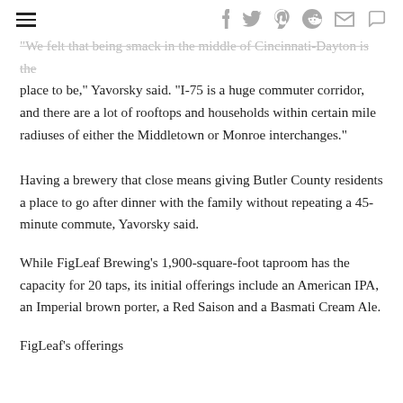navigation header with hamburger menu and social icons
"We felt that being smack in the middle of Cincinnati-Dayton is the place to be," Yavorsky said. "I-75 is a huge commuter corridor, and there are a lot of rooftops and households within certain mile radiuses of either the Middletown or Monroe interchanges."
Having a brewery that close means giving Butler County residents a place to go after dinner with the family without repeating a 45-minute commute, Yavorsky said.
While FigLeaf Brewing’s 1,900-square-foot taproom has the capacity for 20 taps, its initial offerings include an American IPA, an Imperial brown porter, a Red Saison and a Basmati Cream Ale.
FigLeaf’s offerings...